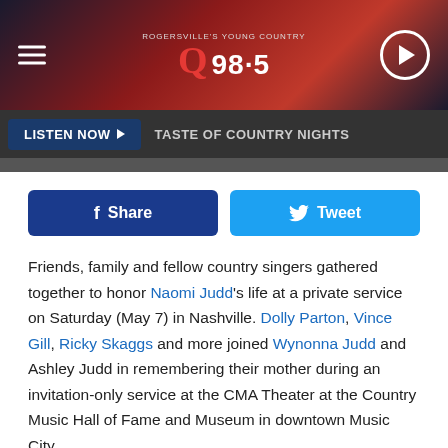[Figure (screenshot): Q98.5 radio station header banner with logo, hamburger menu, and play button on a dark red/maroon gradient background]
[Figure (infographic): Listen Now button bar with 'TASTE OF COUNTRY NIGHTS' label on dark grey background]
[Figure (infographic): Facebook Share and Twitter Tweet social sharing buttons]
Friends, family and fellow country singers gathered together to honor Naomi Judd's life at a private service on Saturday (May 7) in Nashville. Dolly Parton, Vince Gill, Ricky Skaggs and more joined Wynonna Judd and Ashley Judd in remembering their mother during an invitation-only service at the CMA Theater at the Country Music Hall of Fame and Museum in downtown Music City.
Naomi Judd died on Saturday, April 30, one day before she and Wynonna Judd were formally inducted into the Country Music Hall of Fame on May 1. Her daughters attributed her